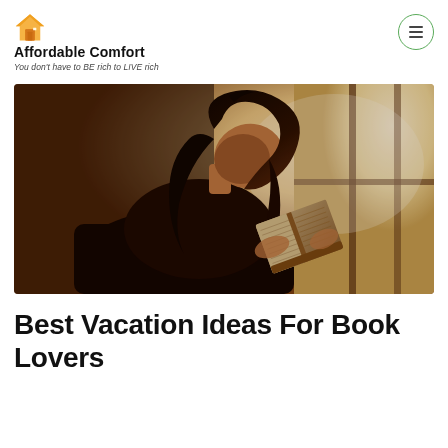Affordable Comfort — You don't have to BE rich to LIVE rich
[Figure (photo): A young woman with long dark hair reading a book, silhouetted against a bright window with warm amber light. She is seated and holding an open book.]
Best Vacation Ideas For Book Lovers